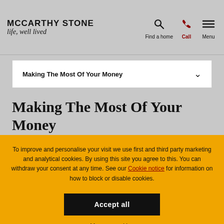McCARTHY STONE life, well lived | Find a home | Call | Menu
Making The Most Of Your Money
Making The Most Of Your Money
To improve and personalise your visit we use first and third party marketing and analytical cookies. By using this site you agree to this. You can withdraw your consent at any time. See our Cookie notice for information on how to block or disable cookies.
Accept all
Manage cookies